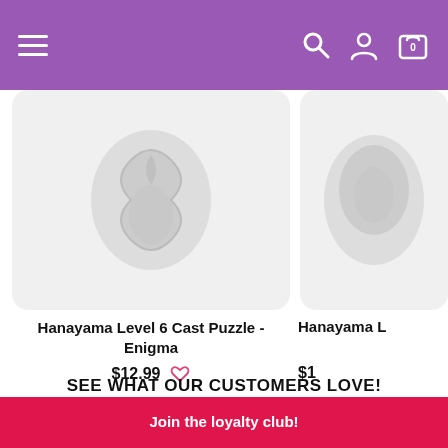Navigation bar with hamburger menu, search, account, and cart icons
[Figure (photo): Product image of Hanayama Level 6 Cast Puzzle - Enigma on light grey background with rounded corners]
Hanayama Level 6 Cast Puzzle - Enigma
$12.99
[Figure (photo): Partial product image of second Hanayama puzzle on light grey background, cut off at right edge]
Hanayama L...
$1...
SEE WHAT OUR CUSTOMERS LOVE!
Join the loyalty club!